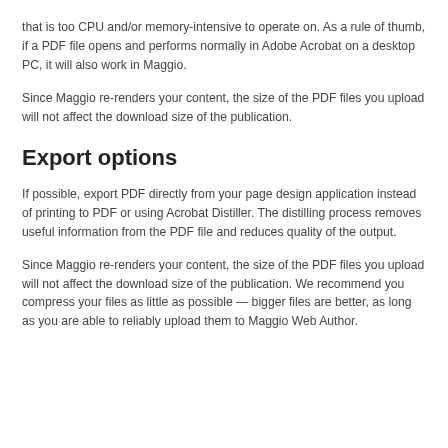that is too CPU and/or memory-intensive to operate on. As a rule of thumb, if a PDF file opens and performs normally in Adobe Acrobat on a desktop PC, it will also work in Maggio.
Since Maggio re-renders your content, the size of the PDF files you upload will not affect the download size of the publication.
Export options
If possible, export PDF directly from your page design application instead of printing to PDF or using Acrobat Distiller. The distilling process removes useful information from the PDF file and reduces quality of the output.
Since Maggio re-renders your content, the size of the PDF files you upload will not affect the download size of the publication. We recommend you compress your files as little as possible — bigger files are better, as long as you are able to reliably upload them to Maggio Web Author.